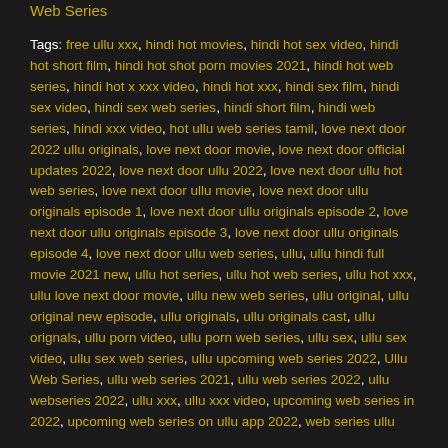Web Series
Tags: free ullu xxx, hindi hot movies, hindi hot sex video, hindi hot short film, hindi hot shot porn movies 2021, hindi hot web series, hindi hot x xxx video, hindi hot xxx, hindi sex film, hindi sex video, hindi sex web series, hindi short film, hindi web series, hindi xxx video, hot ullu web series tamil, love next door 2022 ullu originals, love next door movie, love next door official updates 2022, love next door ullu 2022, love next door ullu hot web series, love next door ullu movie, love next door ullu originals episode 1, love next door ullu originals episode 2, love next door ullu originals episode 3, love next door ullu originals episode 4, love next door ullu web series, ullu, ullu hindi full movie 2021 new, ullu hot series, ullu hot web series, ullu hot xxx, ullu love next door movie, ullu new web series, ullu original, ullu original new episode, ullu originals, ullu originals cast, ullu orignals, ullu porn video, ullu porn web series, ullu sex, ullu sex video, ullu sex web series, ullu upcoming web series 2022, Ullu Web Series, ullu web series 2021, ullu web series 2022, ullu webseries 2022, ullu xxx, ullu xxx video, upcoming web series in 2022, upcoming web series on ullu app 2022, web series ullu
Added on: May 3, 2022
Indian Hot Web Series porn